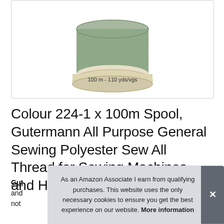[Figure (photo): A spool of green/sage colored thread with a cream-colored base labeled '100 m - 110 yds/vgs']
Colour 224-1 x 100m Spool, Gutermann All Purpose General Sewing Polyester Sew All Thread for Sewing Machines and Hand Sewing, 100m Reel
Gutermann and not
As an Amazon Associate I earn from qualifying purchases. This website uses the only necessary cookies to ensure you get the best experience on our website. More information